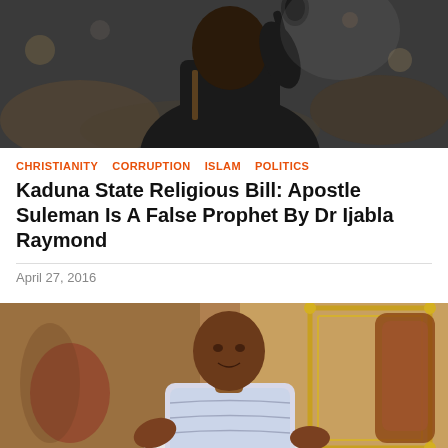[Figure (photo): A person in a black suit holding a microphone, photographed from below against a blurred crowd background]
CHRISTIANITY  CORRUPTION  ISLAM  POLITICS
Kaduna State Religious Bill: Apostle Suleman Is A False Prophet By Dr Ijabla Raymond
April 27, 2016
[Figure (photo): A man in a white outfit seated, gesturing with hands, with an ornate gold-framed background]